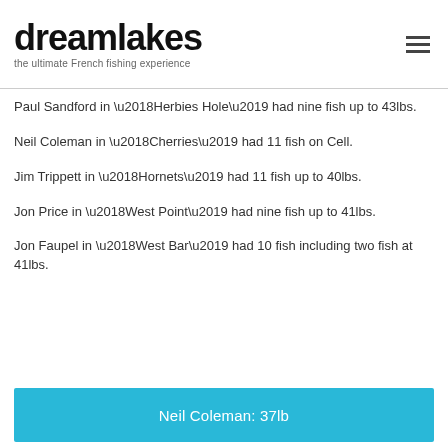dreamlakes — the ultimate French fishing experience
Paul Sandford in ‘Herbies Hole’ had nine fish up to 43lbs.
Neil Coleman in ‘Cherries’ had 11 fish on Cell.
Jim Trippett in ‘Hornets’ had 11 fish up to 40lbs.
Jon Price in ‘West Point’ had nine fish up to 41lbs.
Jon Faupel in ‘West Bar’ had 10 fish including two fish at 41lbs.
Neil Coleman: 37lb